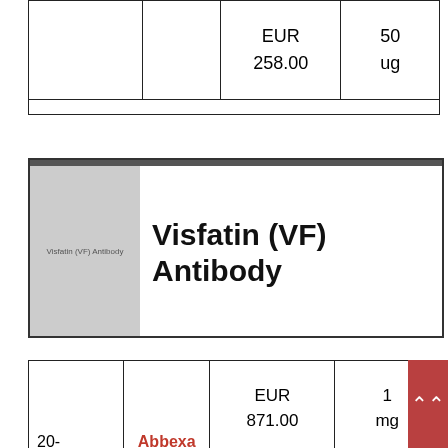| Product |  | Price | Quantity |
| --- | --- | --- | --- |
|  |  | EUR 258.00 | 50 ug |
|  |  |  |  |
[Figure (photo): Visfatin (VF) Antibody product image placeholder (grey box with text label)]
Visfatin (VF) Antibody
| Catalog No. | Supplier | Price | Quantity |
| --- | --- | --- | --- |
| 20- | Abbexa | EUR 871.00 | 1 mg |